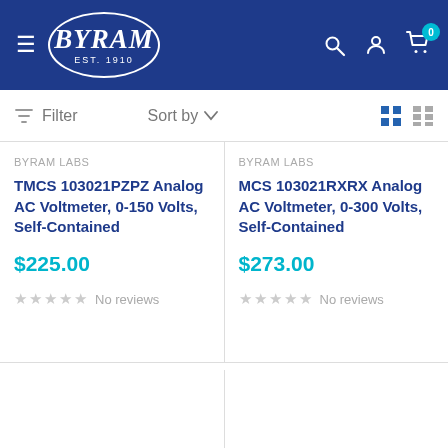BYRAM EST. 1910 — navigation header
Filter   Sort by   (grid/list view icons)
BYRAM LABS
TMCS 103021PZPZ Analog AC Voltmeter, 0-150 Volts, Self-Contained
$225.00
★★★★★ No reviews
BYRAM LABS
MCS 103021RXRX Analog AC Voltmeter, 0-300 Volts, Self-Contained
$273.00
★★★★★ No reviews